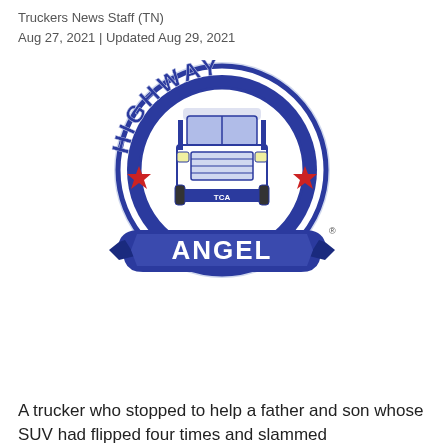Truckers News Staff (TN)
Aug 27, 2021 | Updated Aug 29, 2021
[Figure (logo): Highway Angel award logo from Truckload Carriers Association (TCA). A circular badge with a semi-truck in the center, 'HIGHWAY' text arching across the top, two red stars on either side of the truck, 'TCA' on the truck's bumper area, and a blue banner ribbon at the bottom reading 'ANGEL'. A small registered trademark symbol appears at the lower right.]
A trucker who stopped to help a father and son whose SUV had flipped four times and slammed